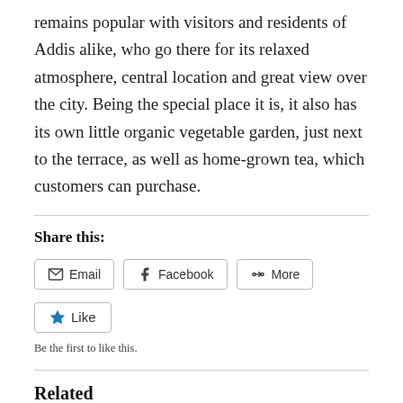remains popular with visitors and residents of Addis alike, who go there for its relaxed atmosphere, central location and great view over the city. Being the special place it is, it also has its own little organic vegetable garden, just next to the terrace, as well as home-grown tea, which customers can purchase.
Share this:
Email  Facebook  More
Like
Be the first to like this.
Related
loss of Taitu hotel, loss of a great heritage for Ethiopia